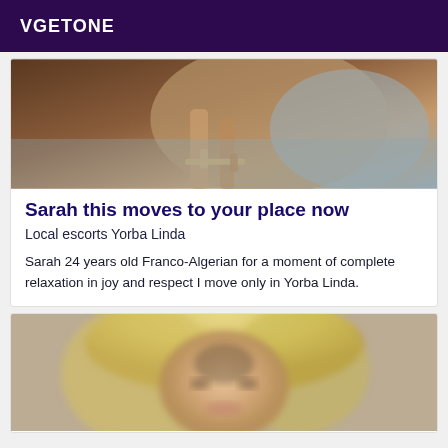VGETONE
[Figure (photo): Partial photo showing legs and high-heeled sandals on a grey surface, warm brown tones]
Sarah this moves to your place now
Local escorts Yorba Linda
Sarah 24 years old Franco-Algerian for a moment of complete relaxation in joy and respect I move only in Yorba Linda.
[Figure (photo): Blurred photo of a blonde woman, appears to be a selfie or portrait, warm tones]